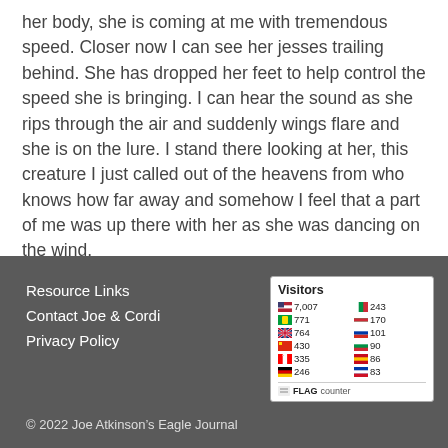her body, she is coming at me with tremendous speed. Closer now I can see her jesses trailing behind. She has dropped her feet to help control the speed she is bringing. I can hear the sound as she rips through the air and suddenly wings flare and she is on the lure. I stand there looking at her, this creature I just called out of the heavens from who knows how far away and somehow I feel that a part of me was up there with her as she was dancing on the wind.
Resource Links
Contact Joe & Cordi
Privacy Policy
[Figure (other): FLAG counter widget showing visitor counts by country flags]
© 2022 Joe Atkinson's Eagle Journal